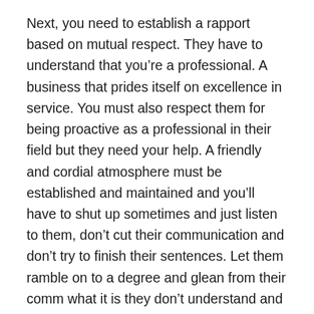Next, you need to establish a rapport based on mutual respect. They have to understand that you're a professional. A business that prides itself on excellence in service. You must also respect them for being proactive as a professional in their field but they need your help. A friendly and cordial atmosphere must be established and maintained and you'll have to shut up sometimes and just listen to them, don't cut their communication and don't try to finish their sentences. Let them ramble on to a degree and glean from their comm what it is they don't understand and what they want and need. Once this is done, then you can establish to them that when you issue suggestions, orders, and actions, that they are clearly understood and to be followed to the letter.
Never engage in politics or religion or hot button topics. You're conducting business not running the United